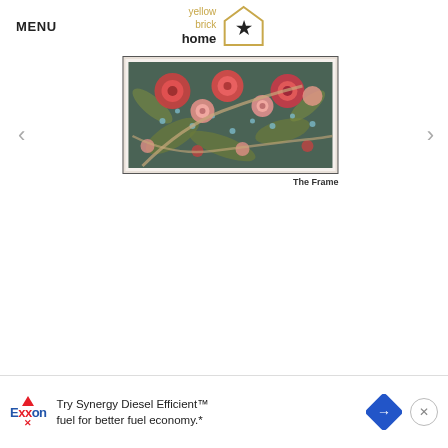MENU | Yellow Brick Home logo
[Figure (photo): A framed artwork showing a floral botanical pattern with red and pink flowers on a dark green background, displayed in a thin black frame. Labeled 'The Frame' below.]
The Frame
[Figure (other): Exxon advertisement: 'Try Synergy Diesel Efficient™ fuel for better fuel economy.*' with Exxon logo, blue road sign icon, and close button.]